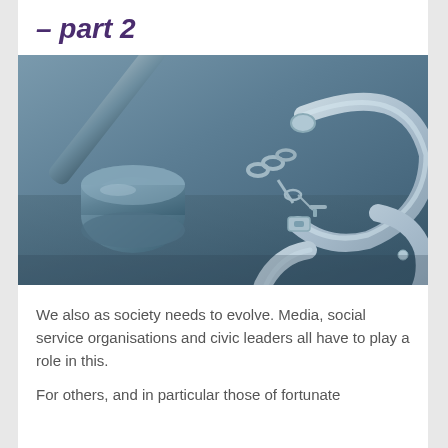– part 2
[Figure (photo): A judge's gavel and a pair of open handcuffs with keys on a dark surface, shown in blue-tinted monochrome photography.]
We also as society needs to evolve. Media, social service organisations and civic leaders all have to play a role in this.
For others, and in particular those of fortunate...